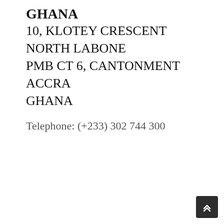GHANA
10, KLOTEY CRESCENT
NORTH LABONE
PMB CT 6, CANTONMENT
ACCRA
GHANA
Telephone: (+233) 302 744 300